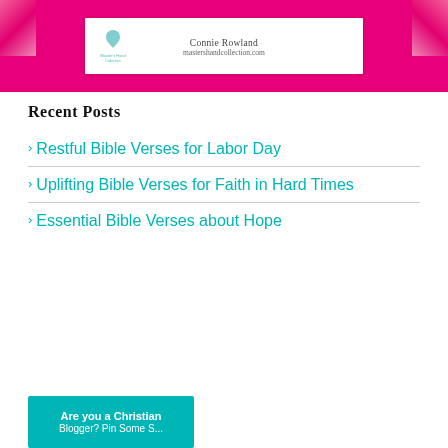[Figure (photo): Pink promotional banner image for Master's Hand Collection by Connie Rowland, with decorative pink flowers and a white card showing the author name and website mastershandcollection.com]
Recent Posts
Restful Bible Verses for Labor Day
Uplifting Bible Verses for Faith in Hard Times
Essential Bible Verses about Hope
[Figure (photo): Teal/turquoise banner with white text reading 'Are you a Christian' and below that partially visible text]